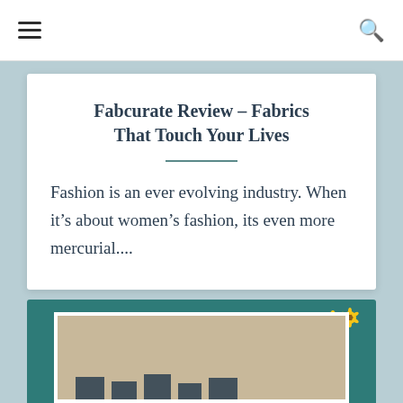≡  🔍
Fabcurate Review – Fabrics That Touch Your Lives
Fashion is an ever evolving industry. When it's about women's fashion, its even more mercurial....
[Figure (photo): A fabric/textile image on a teal background with sunflower decorations, showing fabric samples displayed against a light beige background with dark shapes at the bottom.]